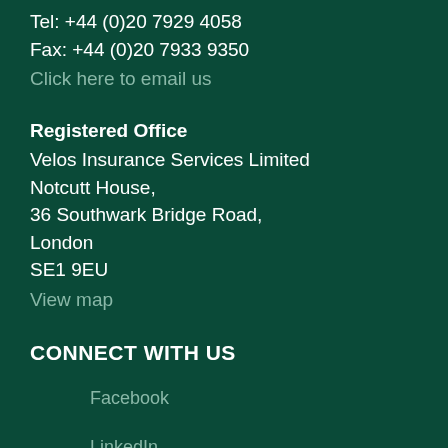Tel: +44 (0)20 7929 4058
Fax: +44 (0)20 7933 9350
Click here to email us
Registered Office
Velos Insurance Services Limited
Notcutt House,
36 Southwark Bridge Road,
London
SE1 9EU
View map
CONNECT WITH US
Facebook
LinkedIn